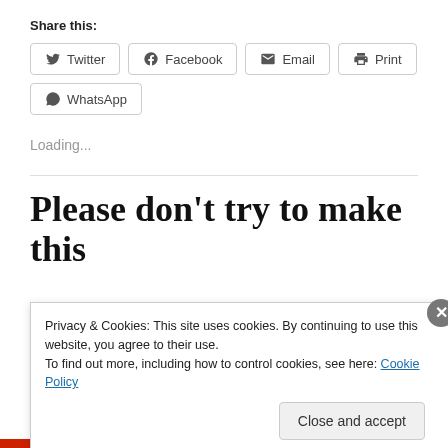Share this:
Twitter  Facebook  Email  Print  WhatsApp
Loading...
Please don't try to make this
Privacy & Cookies: This site uses cookies. By continuing to use this website, you agree to their use.
To find out more, including how to control cookies, see here: Cookie Policy
Close and accept